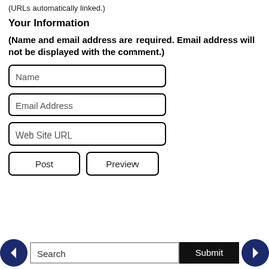(URLs automatically linked.)
Your Information
(Name and email address are required. Email address will not be displayed with the comment.)
[Figure (screenshot): Web form with three input fields labeled Name, Email Address, Web Site URL, and two buttons labeled Post and Preview]
← Search [field] Submit →